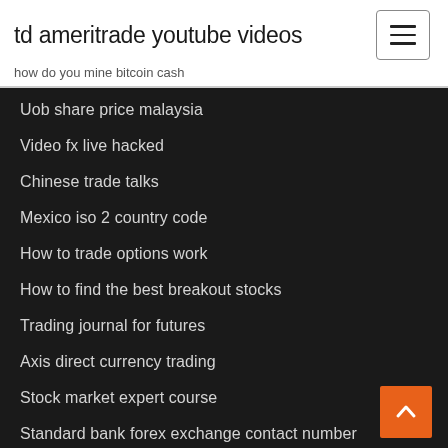td ameritrade youtube videos
how do you mine bitcoin cash
Uob share price malaysia
Video fx live hacked
Chinese trade talks
Mexico iso 2 country code
How to trade options work
How to find the best breakout stocks
Trading journal for futures
Axis direct currency trading
Stock market expert course
Standard bank forex exchange contact number